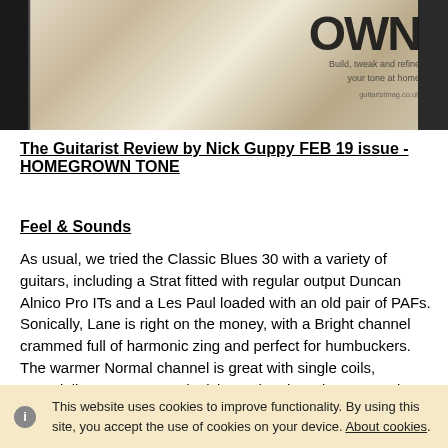[Figure (photo): Photograph of a music magazine (Guitarist) page showing the HOMEGROWN TONE review, with dark edges and magazine title visible on the right side.]
The Guitarist Review by Nick Guppy FEB 19 issue - HOMEGROWN TONE
Feel & Sounds
As usual, we tried the Classic Blues 30 with a variety of guitars, including a Strat fitted with regular output Duncan Alnico Pro ITs and a Les Paul loaded with an old pair of PAFs. Sonically, Lane is right on the money, with a Bright channel crammed full of harmonic zing and perfect for humbuckers. The warmer Normal channel is great with single coils, especially our Strat's neck pickup. The shared EQ controls interact smoothly with no annoying peaks, and you can link both channels together with a short patch lead
This website uses cookies to improve functionality. By using this site, you accept the use of cookies on your device. About cookies.